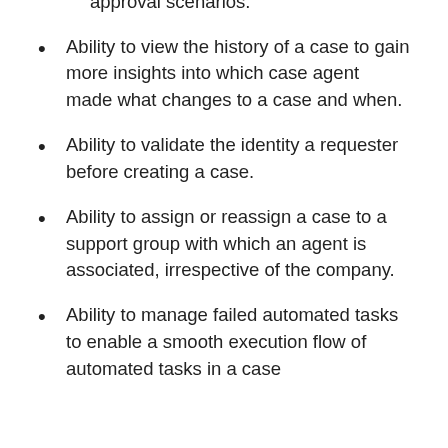configuration and support for additional approval scenarios.
Ability to view the history of a case to gain more insights into which case agent made what changes to a case and when.
Ability to validate the identity a requester before creating a case.
Ability to assign or reassign a case to a support group with which an agent is associated, irrespective of the company.
Ability to manage failed automated tasks to enable a smooth execution flow of automated tasks in a case